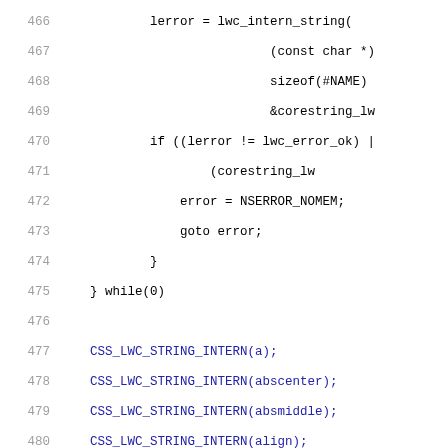Source code listing lines 466-495 showing C code with lerror = lwc_intern_string(...), if checks, and CSS_LWC_STRING_INTERN macro calls for various HTML element names.